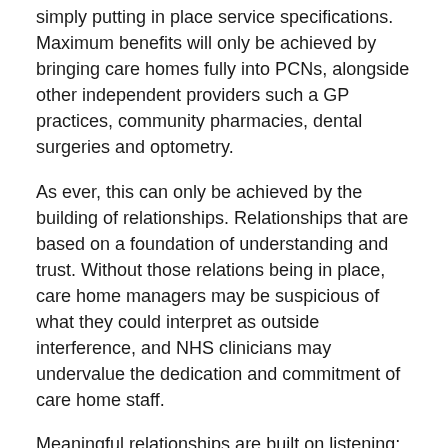simply putting in place service specifications. Maximum benefits will only be achieved by bringing care homes fully into PCNs, alongside other independent providers such a GP practices, community pharmacies, dental surgeries and optometry.
As ever, this can only be achieved by the building of relationships. Relationships that are based on a foundation of understanding and trust. Without those relations being in place, care home managers may be suspicious of what they could interpret as outside interference, and NHS clinicians may undervalue the dedication and commitment of care home staff.
Meaningful relationships are built on listening; the purpose of which is to understand the position of the speaker. This means giving care home managers, staff, residents and their families a platform from which to be listened to. For example, having a care home manager as part of the PCN leadership team.